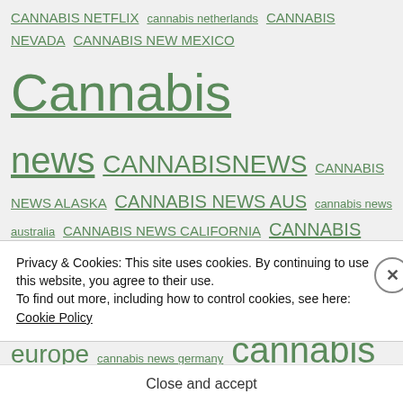CANNABIS NETFLIX  cannabis netherlands  CANNABIS NEVADA  CANNABIS NEW MEXICO  Cannabis news  CANNABISNEWS  CANNABIS NEWS ALASKA  CANNABIS NEWS AUS  cannabis news australia  CANNABIS NEWS CALIFORNIA  CANNABIS NEWS CANADA  cannabis news chicago  cannabis news europe  cannabis news germany  cannabis news headlines  Cannabis news israel  cannabis news Jamaica  cannabis news luxembourg  cannabis news mexico  cannabis news nepal  cannabis news uk  CANNABIS NEWS
Privacy & Cookies: This site uses cookies. By continuing to use this website, you agree to their use. To find out more, including how to control cookies, see here: Cookie Policy
Close and accept